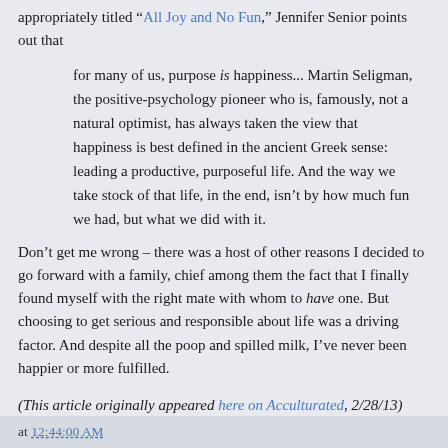appropriately titled “All Joy and No Fun,” Jennifer Senior points out that
for many of us, purpose is happiness... Martin Seligman, the positive-psychology pioneer who is, famously, not a natural optimist, has always taken the view that happiness is best defined in the ancient Greek sense: leading a productive, purposeful life. And the way we take stock of that life, in the end, isn’t by how much fun we had, but what we did with it.
Don’t get me wrong – there was a host of other reasons I decided to go forward with a family, chief among them the fact that I finally found myself with the right mate with whom to have one. But choosing to get serious and responsible about life was a driving factor. And despite all the poop and spilled milk, I’ve never been happier or more fulfilled.
(This article originally appeared here on Acculturated, 2/28/13)
at 12:44:00 AM